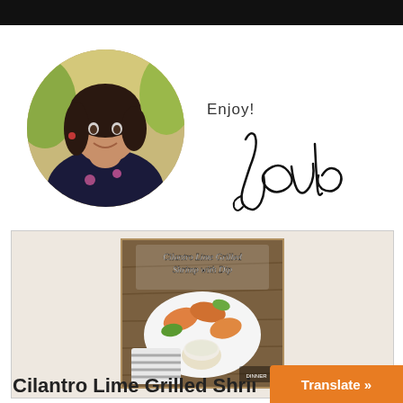[Figure (photo): Black horizontal banner/bar at top of page]
[Figure (photo): Circular portrait photo of a smiling woman with dark hair, wearing a dark floral top, arms crossed, outdoors with green/golden background]
Enjoy!
[Figure (illustration): Handwritten cursive signature reading 'Joule' or similar]
[Figure (photo): Food photo labeled 'Cilantro Lime Grilled Shrimp with Dip' showing shrimp on a white plate with green garnishes and a dipping sauce]
Cilantro Lime Grilled Shrim…
Translate »